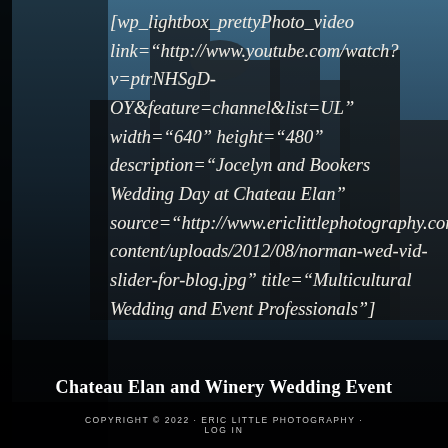[Figure (photo): Dark urban cityscape background with tall office buildings against a blue sky, semi-transparent dark overlay, forming the backdrop for overlaid text content.]
[wp_lightbox_prettyPhoto_video link="http://www.youtube.com/watch?v=ptrNHSgD-OY&feature=channel&list=UL" width="640" height="480" description="Jocelyn and Bookers Wedding Day at Chateau Elan" source="http://www.ericlittlephotography.com/wp-content/uploads/2012/08/norman-wed-vid-slider-for-blog.jpg" title="Multicultural Wedding and Event Professionals"]
Chateau Elan and Winery Wedding Event
COPYRIGHT © 2022 · ERIC LITTLE PHOTOGRAPHY · LOG IN